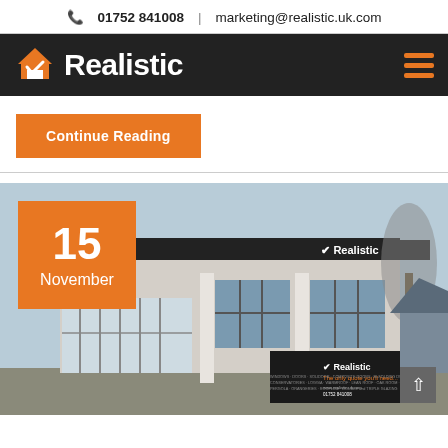01752 841008 | marketing@realistic.uk.com
[Figure (logo): Realistic logo with orange house checkmark icon and white bold text on dark background, with orange hamburger menu icon on the right]
Continue Reading
[Figure (photo): Exterior photo of Realistic showroom building with dark signage showing the Realistic logo, windows display, and a date badge showing 15 November in the top left corner. A scroll-up arrow button is visible at the bottom right.]